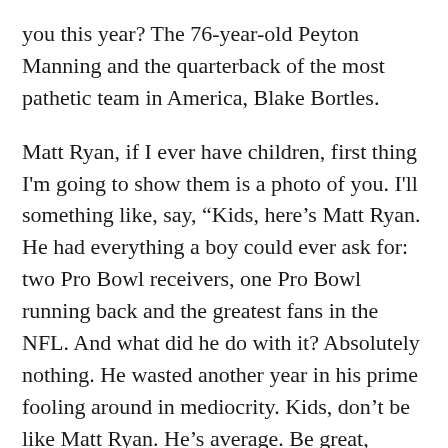you this year? The 76-year-old Peyton Manning and the quarterback of the most pathetic team in America, Blake Bortles.
Matt Ryan, if I ever have children, first thing I'm going to show them is a photo of you. I'll something like, say, “Kids, here’s Matt Ryan. He had everything a boy could ever ask for: two Pro Bowl receivers, one Pro Bowl running back and the greatest fans in the NFL. And what did he do with it? Absolutely nothing. He wasted another year in his prime fooling around in mediocrity. Kids, don’t be like Matt Ryan. He’s average. Be great, instead. Be more like Tom Brady.”
Now if you’ll look to your left, it’s the Falcons defense. I’m surprised you can actually see them, since they’ve nearly been nonexistent. These so-called defenders couldn’t even stop Matt Hasselbeck, Blaine Gabbert and rookie Jameis Winston from beating them.